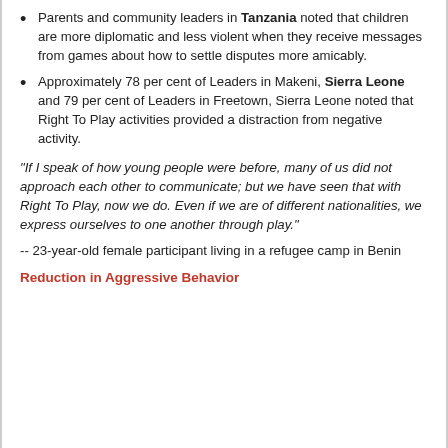Parents and community leaders in Tanzania noted that children are more diplomatic and less violent when they receive messages from games about how to settle disputes more amicably.
Approximately 78 per cent of Leaders in Makeni, Sierra Leone and 79 per cent of Leaders in Freetown, Sierra Leone noted that Right To Play activities provided a distraction from negative activity.
"If I speak of how young people were before, many of us did not approach each other to communicate; but we have seen that with Right To Play, now we do. Even if we are of different nationalities, we express ourselves to one another through play."
-- 23-year-old female participant living in a refugee camp in Benin
Reduction in Aggressive Behavior